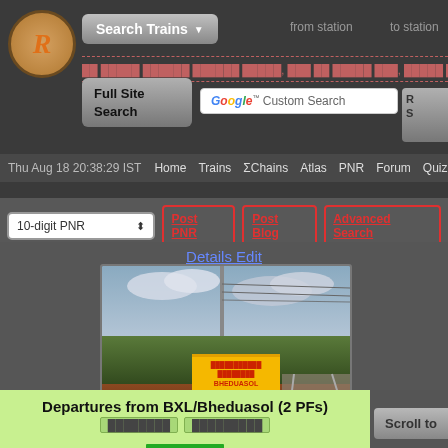[Figure (screenshot): RailYatri/Indian Railways website header with logo, Search Trains button, navigation bar, and action buttons]
Thu Aug 18 20:38:29 IST  Home  Trains  ΣChains  Atlas  PNR  Forum  Quiz R
10-digit PNR  Post PNR  Post Blog  Advanced Search
Details Edit
[Figure (photo): Railway station sign board reading BHEDUASOL in yellow board with red text, alongside railway tracks, green vegetation, and cloudy sky]
Entry# 3499660-0
Departures from BXL/Bheduasol (2 PFs)
Track: Double Electric-Line